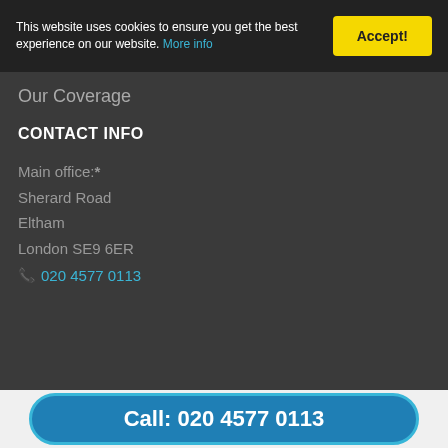This website uses cookies to ensure you get the best experience on our website. More info
Accept!
Our Coverage
CONTACT INFO
Main office:*
Sherard Road
Eltham
London SE9 6ER
020 4577 0113
SECURE LOCKSMITH ELTHAM
Call: 020 4577 0113